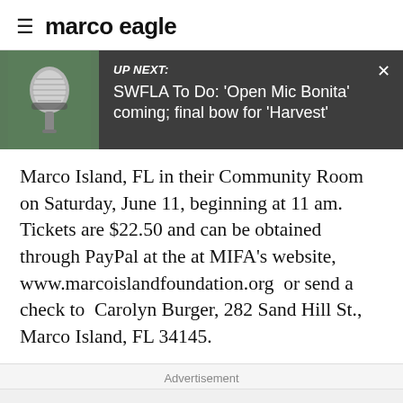≡ marco eagle
[Figure (screenshot): UP NEXT banner with microphone photo thumbnail, showing article link: SWFLA To Do: 'Open Mic Bonita' coming; final bow for 'Harvest']
Marco Island, FL in their Community Room on Saturday, June 11, beginning at 11 am. Tickets are $22.50 and can be obtained through PayPal at the at MIFA's website, www.marcoislandfoundation.org or send a check to Carolyn Burger, 282 Sand Hill St., Marco Island, FL 34145.
Advertisement